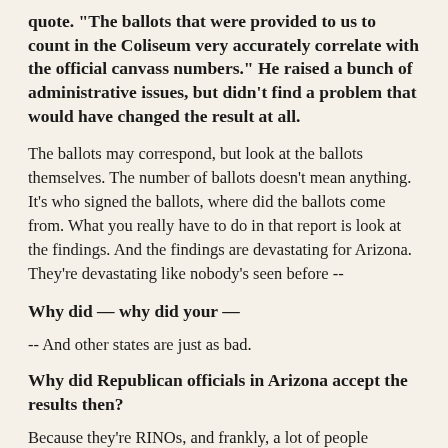quote. "The ballots that were provided to us to count in the Coliseum very accurately correlate with the official canvass numbers." He raised a bunch of administrative issues, but didn't find a problem that would have changed the result at all.
The ballots may correspond, but look at the ballots themselves. The number of ballots doesn't mean anything. It's who signed the ballots, where did the ballots come from. What you really have to do in that report is look at the findings. And the findings are devastating for Arizona. They're devastating like nobody's seen before --
Why did — why did your —
-- And other states are just as bad.
Why did Republican officials in Arizona accept the results then?
Because they're RINOs, and frankly, a lot of people